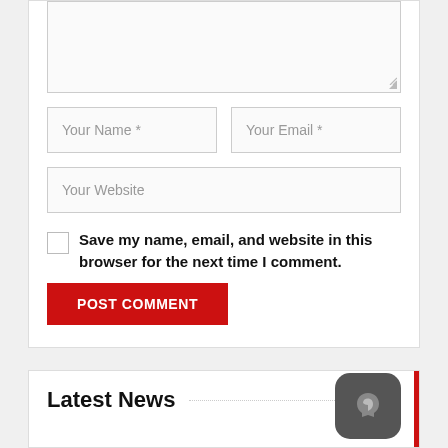[Figure (screenshot): Web comment form with textarea, name/email/website input fields, checkbox, POST COMMENT button]
Your Name *
Your Email *
Your Website
Save my name, email, and website in this browser for the next time I comment.
POST COMMENT
Latest News